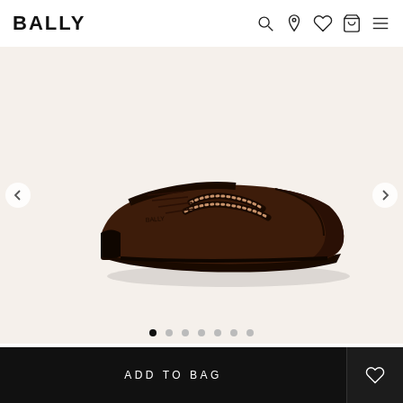BALLY
[Figure (photo): Dark brown leather Oxford brogue dress shoe with cap toe and decorative perforations, shown in profile view against a cream/off-white background. Shoe has dark leather sole and laces.]
ADD TO BAG